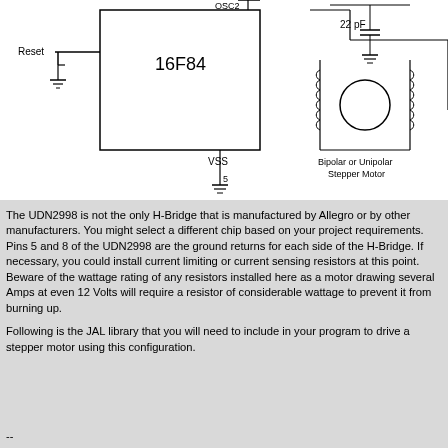[Figure (circuit-diagram): Circuit schematic showing a PIC 16F84 microcontroller with Reset pin, crystal oscillator (22pF capacitors), VSS ground connection (pin 5), and a Bipolar or Unipolar Stepper Motor connected via H-Bridge. The diagram shows partial view of a stepper motor control circuit.]
The UDN2998 is not the only H-Bridge that is manufactured by Allegro or by other manufacturers. You might select a different chip based on your project requirements. Pins 5 and 8 of the UDN2998 are the ground returns for each side of the H-Bridge. If necessary, you could install current limiting or current sensing resistors at this point. Beware of the wattage rating of any resistors installed here as a motor drawing several Amps at even 12 Volts will require a resistor of considerable wattage to prevent it from burning up.
Following is the JAL library that you will need to include in your program to drive a stepper motor using this configuration.
--